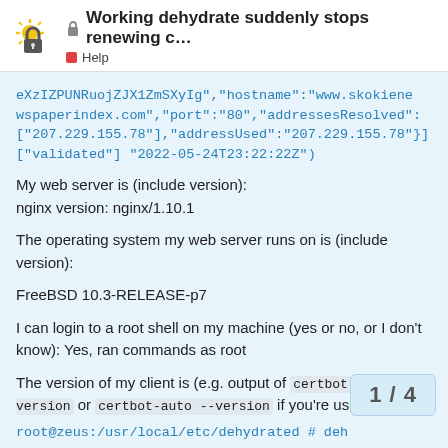🔒 Working dehydrate suddenly stops renewing c… | Help
eXzIZPUNRuojZJX1ZmSXyIg","hostname":"www.skokienewspaperindex.com","port":"80","addressesResolved":["207.229.155.78"],"addressUsed":"207.229.155.78"}]
["validated"] "2022-05-24T23:22:22Z")
My web server is (include version):
nginx version: nginx/1.10.1
The operating system my web server runs on is (include version):
FreeBSD 10.3-RELEASE-p7
I can login to a root shell on my machine (yes or no, or I don't know): Yes, ran commands as root
The version of my client is (e.g. output of certbot --version or certbot-auto --version if you're using Certbot):
root@zeus:/usr/local/etc/dehydrated # deh
1 / 4